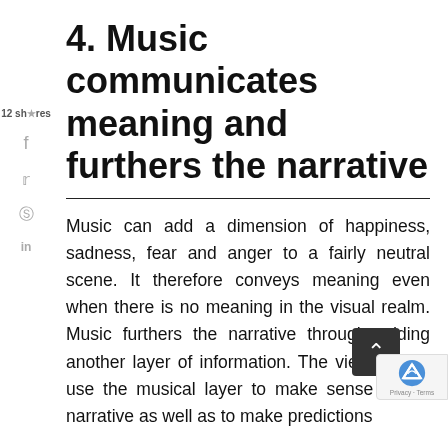12 shares
4. Music communicates meaning and furthers the narrative
Music can add a dimension of happiness, sadness, fear and anger to a fairly neutral scene. It therefore conveys meaning even when there is no meaning in the visual realm. Music furthers the narrative through adding another layer of information. The viewers can use the musical layer to make sense of the narrative as well as to make predictions